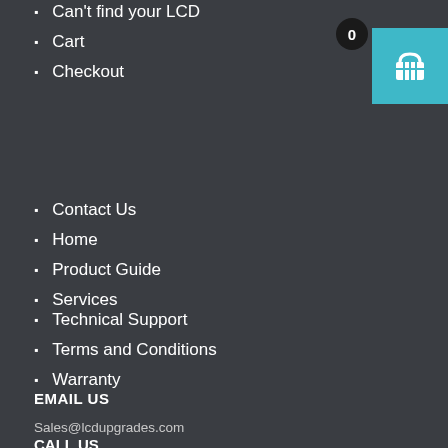Can't find your LCD
Cart
Checkout
[Figure (other): Shopping cart widget with count badge showing 0 and teal basket icon button]
Contact Us
Home
Product Guide
Services
Technical Support
Terms and Conditions
Warranty
EMAIL US
Sales@lcdupgrades.com
CALL US